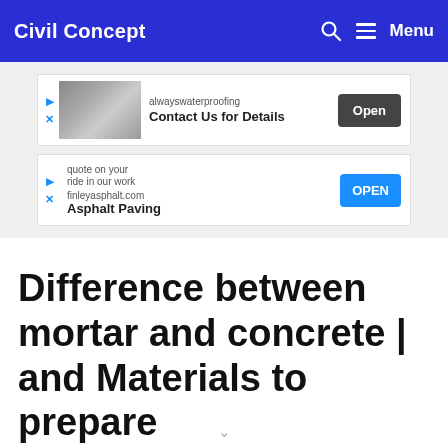Civil Concept
[Figure (screenshot): Advertisement banner 1: alwayswaterproofing — Contact Us for Details — Open button]
[Figure (screenshot): Advertisement banner 2: finleyasphalt.com — Asphalt Paving — OPEN button]
Difference between mortar and concrete | and Materials to prepare